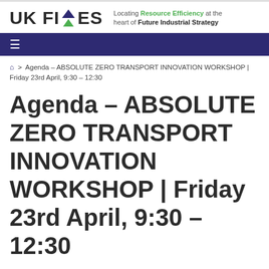UK FIRES — Locating Resource Efficiency at the heart of Future Industrial Strategy
Agenda – ABSOLUTE ZERO TRANSPORT INNOVATION WORKSHOP | Friday 23rd April, 9:30 – 12:30
Agenda – ABSOLUTE ZERO TRANSPORT INNOVATION WORKSHOP | Friday 23rd April, 9:30 – 12:30
April 13, 2021   Uncategorized